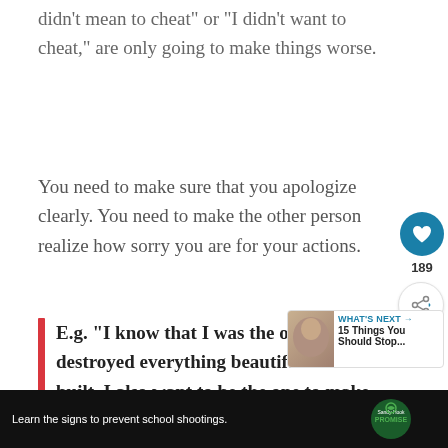didn’t mean to cheat” or “I didn’t want to cheat,” are only going to make things worse.
You need to make sure that you apologize clearly. You need to make the other person realize how sorry you are for your actions.
E.g. “I know that I was the one who destroyed everything beautiful that we built. I also want to be the one to make everything like it was before, if that’s
189
WHAT’S NEXT →
15 Things You Should Stop...
Learn the signs to prevent school shootings.